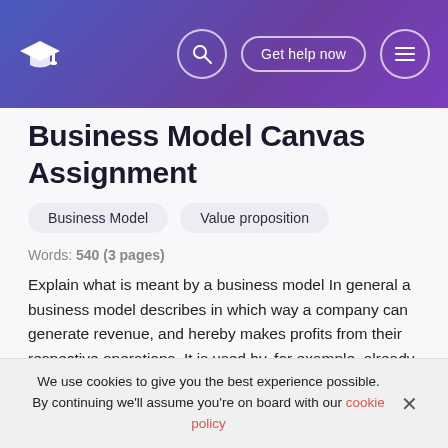Business Model Canvas Assignment — navigation bar with logo, search, Get help now, menu
Business Model Canvas Assignment
Business Model   Value proposition
Words: 540 (3 pages)
Explain what is meant by a business model In general a business model describes in which way a company can generate revenue, and hereby makes profits from their respective operations. It is used by, for example, already established companies, which seek new forms of innovation strategies to put themselves in a stabile spot in the...
We use cookies to give you the best experience possible. By continuing we'll assume you're on board with our cookie policy